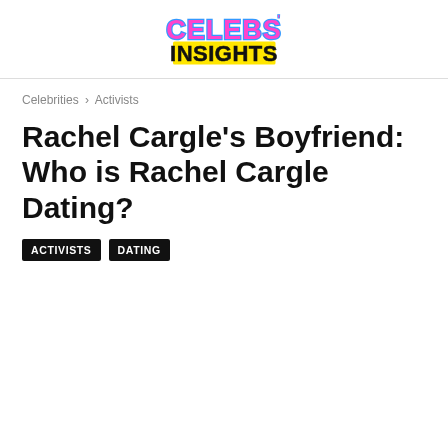CELEBS INSIGHTS
Celebrities › Activists
Rachel Cargle's Boyfriend: Who is Rachel Cargle Dating?
ACTIVISTS
DATING